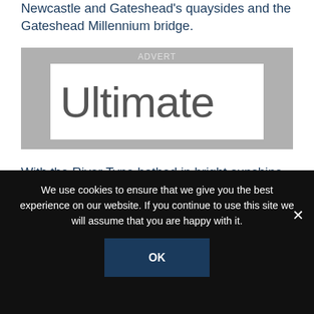Newcastle and Gateshead's quaysides and the Gateshead Millennium bridge.
[Figure (other): Advertisement placeholder showing the word 'Ultimate' in large grey sans-serif font on a white background, with a grey 'ADVERT' label bar above.]
With the River Tyne bathed in bright sunshine, Durham's first victory came in the Freshwomen's eight. There was very little between the two crews as they headed for the finish line, but Durham put in a late charge to win the race by two lengths.
We use cookies to ensure that we give you the best experience on our website. If you continue to use this site we will assume that you are happy with it.